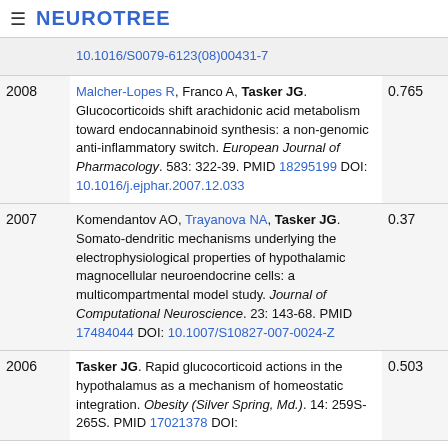≡ NEUROTREE
| Year | Reference | Score |  |
| --- | --- | --- | --- |
|  | 10.1016/S0079-6123(08)00431-7 |  |  |
| 2008 | Malcher-Lopes R, Franco A, Tasker JG. Glucocorticoids shift arachidonic acid metabolism toward endocannabinoid synthesis: a non-genomic anti-inflammatory switch. European Journal of Pharmacology. 583: 322-39. PMID 18295199 DOI: 10.1016/j.ejphar.2007.12.033 | 0.765 |  |
| 2007 | Komendantov AO, Trayanova NA, Tasker JG. Somato-dendritic mechanisms underlying the electrophysiological properties of hypothalamic magnocellular neuroendocrine cells: a multicompartmental model study. Journal of Computational Neuroscience. 23: 143-68. PMID 17484044 DOI: 10.1007/S10827-007-0024-Z | 0.37 |  |
| 2006 | Tasker JG. Rapid glucocorticoid actions in the hypothalamus as a mechanism of homeostatic integration. Obesity (Silver Spring, Md.). 14: 259S-265S. PMID 17021378 DOI: | 0.503 |  |